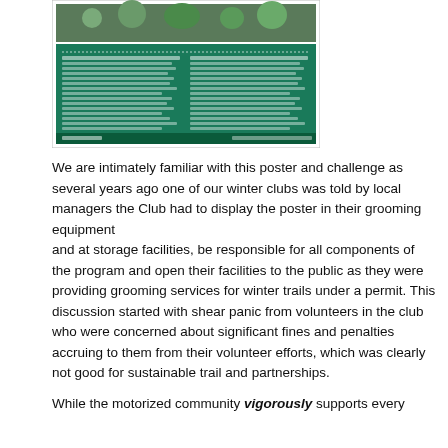[Figure (illustration): A green USDA-style bilingual (English/Spanish) civil rights / nondiscrimination poster displayed as a thumbnail image.]
We are intimately familiar with this poster and challenge as several years ago one of our winter clubs was told by local managers the Club had to display the poster in their grooming equipment and at storage facilities, be responsible for all components of the program and open their facilities to the public as they were providing grooming services for winter trails under a permit. This discussion started with shear panic from volunteers in the club who were concerned about significant fines and penalties accruing to them from their volunteer efforts, which was clearly not good for sustainable trail and partnerships.
While the motorized community vigorously supports every